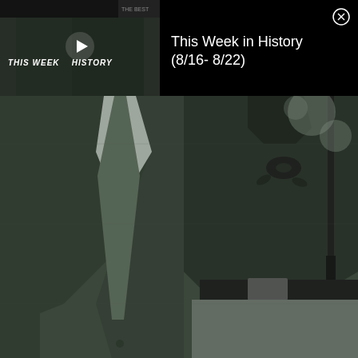[Figure (screenshot): Screenshot of a video player interface. Top section has a black bar containing a video thumbnail on the left showing 'THIS WEEK IN HISTORY' text with a play button arrow, and on the right the title 'This Week in History (8/16- 8/22)' in white text with a close X button. Below is a large black-and-white/green-tinted vintage photograph showing two people standing together — a man in a suit with a tie on the left and a woman in a dark blouse with a brooch and light skirt on the right.]